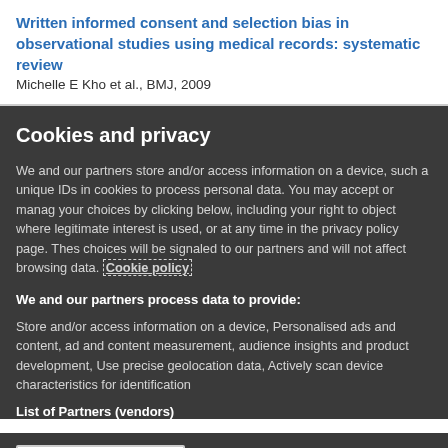Written informed consent and selection bias in observational studies using medical records: systematic review
Michelle E Kho et al., BMJ, 2009
Cookies and privacy
We and our partners store and/or access information on a device, such as unique IDs in cookies to process personal data. You may accept or manage your choices by clicking below, including your right to object where legitimate interest is used, or at any time in the privacy policy page. These choices will be signaled to our partners and will not affect browsing data. Cookie policy
We and our partners process data to provide:
Store and/or access information on a device, Personalised ads and content, ad and content measurement, audience insights and product development, Use precise geolocation data, Actively scan device characteristics for identification
List of Partners (vendors)
I Accept